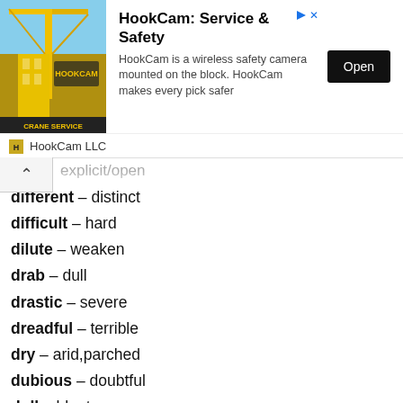[Figure (infographic): HookCam LLC advertisement banner with crane photo, title 'HookCam: Service & Safety', description text, and Open button]
different – distinct
difficult – hard
dilute – weaken
drab – dull
drastic – severe
dreadful – terrible
dry – arid,parched
dubious – doubtful
dull – blunt
dumb – dense
Another Words List – E
early – beforetime